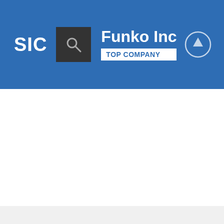SIC — Funko Inc — TOP COMPANY
Funko Inc
TOP COMPANY